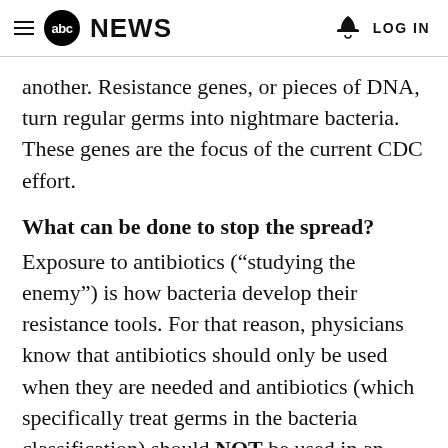abc NEWS  LOG IN
another. Resistance genes, or pieces of DNA, turn regular germs into nightmare bacteria. These genes are the focus of the current CDC effort.
What can be done to stop the spread?
Exposure to antibiotics (“studying the enemy”) is how bacteria develop their resistance tools. For that reason, physicians know that antibiotics should only be used when they are needed and antibiotics (which specifically treat germs in the bacteria classification) should NOT be used in an attempt to treat infections caused by other